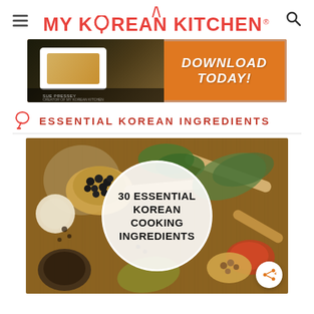MY KOREAN KITCHEN
[Figure (infographic): Promotional banner for My Korean Kitchen cookbook download. Orange background with food photo on left and 'DOWNLOAD TODAY!' text on right.]
ESSENTIAL KOREAN INGREDIENTS
[Figure (photo): Photo of Korean cooking spices and ingredients on wooden board with circle overlay text reading '30 ESSENTIAL KOREAN COOKING INGREDIENTS']